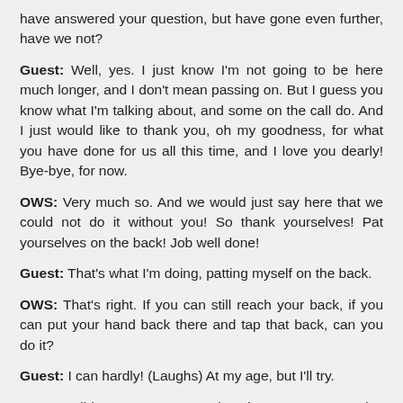have answered your question, but have gone even further, have we not?
Guest: Well, yes. I just know I'm not going to be here much longer, and I don't mean passing on. But I guess you know what I'm talking about, and some on the call do. And I just would like to thank you, oh my goodness, for what you have done for us all this time, and I love you dearly! Bye-bye, for now.
OWS: Very much so. And we would just say here that we could not do it without you! So thank yourselves! Pat yourselves on the back! Job well done!
Guest: That's what I'm doing, patting myself on the back.
OWS: That's right. If you can still reach your back, if you can put your hand back there and tap that back, can you do it?
Guest: I can hardly! (Laughs) At my age, but I'll try.
OWS: I didn't say we are saying that. But we are also saying to you, Dear One, that you can do that. And we want you to do that right now. We want you to take your hand, and put it behind you, and tap your back, and tell yourself "a job well